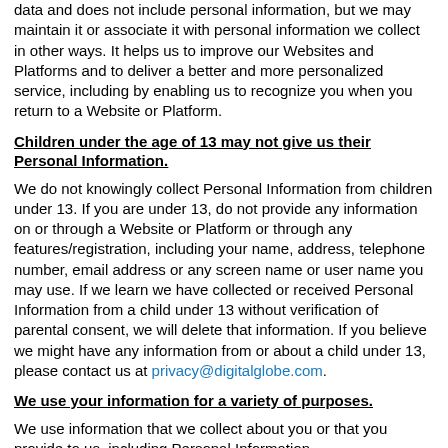data and does not include personal information, but we may maintain it or associate it with personal information we collect in other ways. It helps us to improve our Websites and Platforms and to deliver a better and more personalized service, including by enabling us to recognize you when you return to a Website or Platform.
Children under the age of 13 may not give us their Personal Information.
We do not knowingly collect Personal Information from children under 13. If you are under 13, do not provide any information on or through a Website or Platform or through any features/registration, including your name, address, telephone number, email address or any screen name or user name you may use. If we learn we have collected or received Personal Information from a child under 13 without verification of parental consent, we will delete that information. If you believe we might have any information from or about a child under 13, please contact us at privacy@digitalglobe.com.
We use your information for a variety of purposes.
We use information that we collect about you or that you provide to us, including Personal Information,